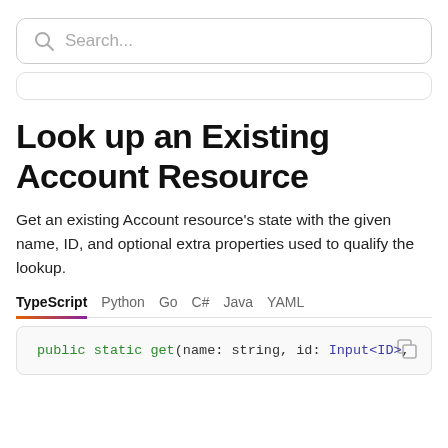[Figure (screenshot): Search box with magnifying glass icon and placeholder text 'Search...']
[Figure (screenshot): Partial navigation/content box at top]
Look up an Existing Account Resource
Get an existing Account resource's state with the given name, ID, and optional extra properties used to qualify the lookup.
TypeScript  Python  Go  C#  Java  YAML
public static get(name: string, id: Input<ID>,